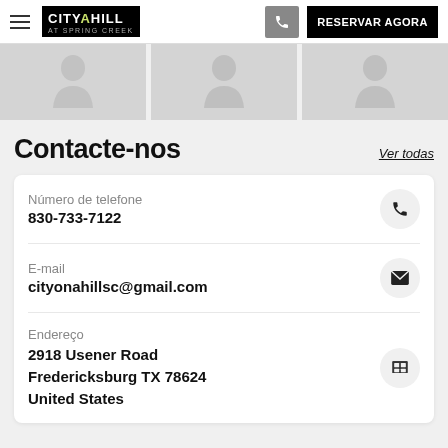[Figure (screenshot): Top navigation bar with hamburger menu, City on a Hill logo, phone button, and RESERVAR AGORA button]
[Figure (photo): Strip of three placeholder person/avatar images in grey]
Contacte-nos
Ver todas
Número de telefone
830-733-7122
E-mail
cityonahillsc@gmail.com
Endereço
2918 Usener Road
Fredericksburg TX 78624
United States